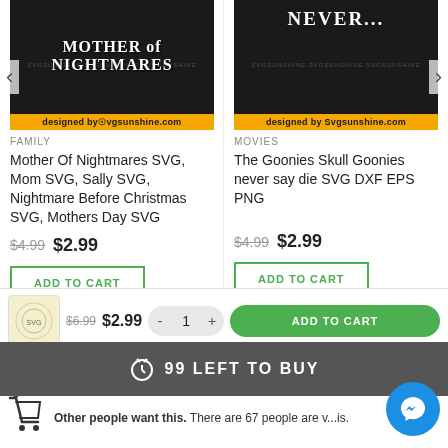[Figure (photo): Product image: Mother of Nightmares SVG design on dark background with 'designed by Svgsunshine.com' banner]
FAMILY
Mother Of Nightmares SVG, Mom SVG, Sally SVG, Nightmare Before Christmas SVG, Mothers Day SVG
$4.99  $2.99
ADD TO CART
[Figure (photo): Product image: The Goonies Skull design on dark background with 'designed by Svgsunshine.com' banner]
MOVIES
The Goonies Skull Goonies never say die SVG DXF EPS PNG
$4.99  $2.99
ADD TO CART
[Figure (photo): Small thumbnail of a circular SVG design product]
$6.99  $2.99
1
ADD TO CART
99 LEFT TO BUY
Other people want this. There are 67 people are v...is.